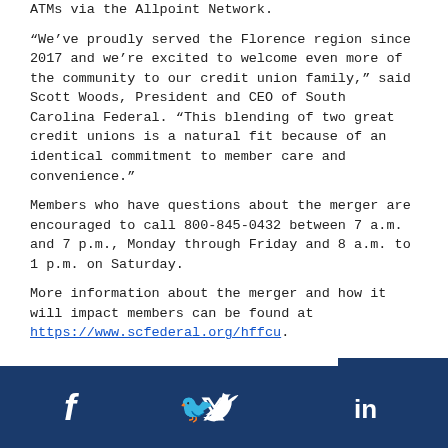ATMs via the Allpoint Network.
“We’ve proudly served the Florence region since 2017 and we’re excited to welcome even more of the community to our credit union family,” said Scott Woods, President and CEO of South Carolina Federal. “This blending of two great credit unions is a natural fit because of an identical commitment to member care and convenience.”
Members who have questions about the merger are encouraged to call 800-845-0432 between 7 a.m. and 7 p.m., Monday through Friday and 8 a.m. to 1 p.m. on Saturday.
More information about the merger and how it will impact members can be found at https://www.scfederal.org/hffcu.
Social media icons: Facebook, Twitter, LinkedIn